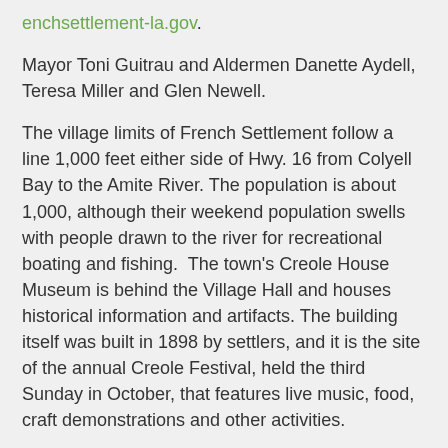enchsettlement-la.gov.
Mayor Toni Guitrau and Aldermen Danette Aydell, Teresa Miller and Glen Newell.
The village limits of French Settlement follow a line 1,000 feet either side of Hwy. 16 from Colyell Bay to the Amite River. The population is about 1,000, although their weekend population swells with people drawn to the river for recreational boating and fishing.  The town's Creole House Museum is behind the Village Hall and houses historical information and artifacts. The building itself was built in 1898 by settlers, and it is the site of the annual Creole Festival, held the third Sunday in October, that features live music, food, craft demonstrations and other activities.
Killian, Town of
Municipal office: 28284 Hwy. 22, Springfield, LA